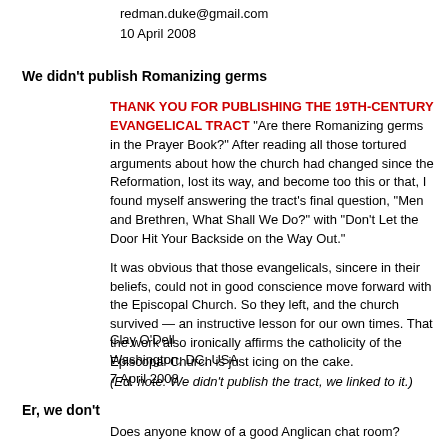redman.duke@gmail.com
10 April 2008
We didn't publish Romanizing germs
THANK YOU FOR PUBLISHING THE 19TH-CENTURY EVANGELICAL TRACT "Are there Romanizing germs in the Prayer Book?" After reading all those tortured arguments about how the church had changed since the Reformation, lost its way, and become too this or that, I found myself answering the tract's final question, "Men and Brethren, What Shall We Do?" with "Don't Let the Door Hit Your Backside on the Way Out."

It was obvious that those evangelicals, sincere in their beliefs, could not in good conscience move forward with the Episcopal Church. So they left, and the church survived — an instructive lesson for our own times. That the work also ironically affirms the catholicity of the Episcopal Church is just icing on the cake.
Clay O'Dell
Washington, DC, USA
7 April 2008
(Ed. note: We didn't publish the tract, we linked to it.)
Er, we don't
Does anyone know of a good Anglican chat room?